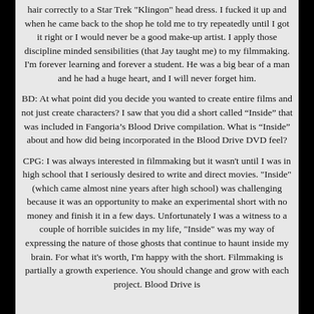hair correctly to a Star Trek "Klingon" head dress. I fucked it up and when he came back to the shop he told me to try repeatedly until I got it right or I would never be a good make-up artist. I apply those discipline minded sensibilities (that Jay taught me) to my filmmaking. I'm forever learning and forever a student. He was a big bear of a man and he had a huge heart, and I will never forget him.
BD: At what point did you decide you wanted to create entire films and not just create characters? I saw that you did a short called “Inside” that was included in Fangoria’s Blood Drive compilation. What is “Inside” about and how did being incorporated in the Blood Drive DVD feel?
CPG: I was always interested in filmmaking but it wasn't until I was in high school that I seriously desired to write and direct movies. "Inside" (which came almost nine years after high school) was challenging because it was an opportunity to make an experimental short with no money and finish it in a few days. Unfortunately I was a witness to a couple of horrible suicides in my life, "Inside" was my way of expressing the nature of those ghosts that continue to haunt inside my brain. For what it's worth, I'm happy with the short. Filmmaking is partially a growth experience. You should change and grow with each project. Blood Drive is